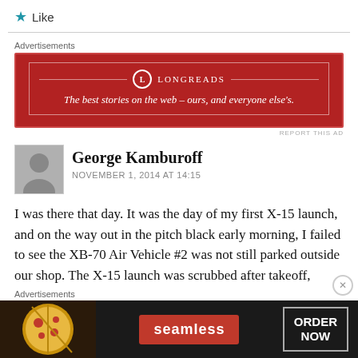★ Like
[Figure (screenshot): Longreads advertisement banner — red background with white border and text: LONGREADS — The best stories on the web – ours, and everyone else's.]
REPORT THIS AD
George Kamburoff
NOVEMBER 1, 2014 AT 14:15
I was there that day. It was the day of my first X-15 launch, and on the way out in the pitch black early morning, I failed to see the XB-70 Air Vehicle #2 was not still parked outside our shop. The X-15 launch was scrubbed after takeoff,
[Figure (screenshot): Seamless food ordering advertisement — dark background with pizza image, seamless red badge, and ORDER NOW button.]